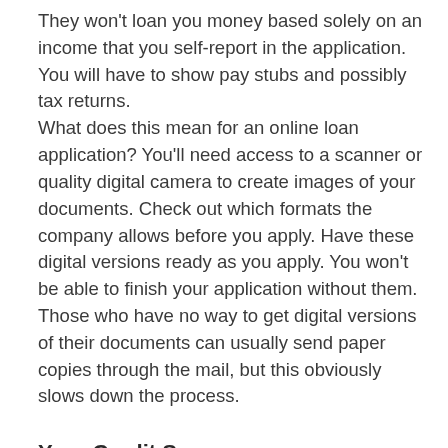They won't loan you money based solely on an income that you self-report in the application. You will have to show pay stubs and possibly tax returns. What does this mean for an online loan application? You'll need access to a scanner or quality digital camera to create images of your documents. Check out which formats the company allows before you apply. Have these digital versions ready as you apply. You won't be able to finish your application without them. Those who have no way to get digital versions of their documents can usually send paper copies through the mail, but this obviously slows down the process.
Your Credit Score